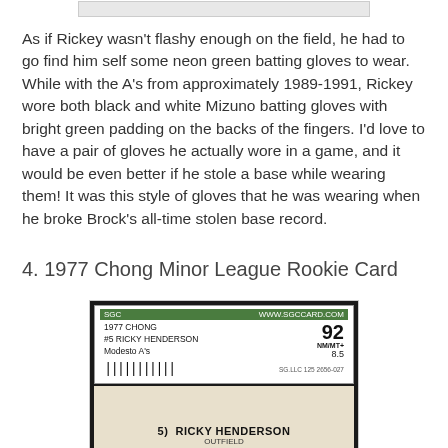[Figure (photo): Top portion of an image (cropped), showing a partial view of a baseball card or batting gloves photo.]
As if Rickey wasn't flashy enough on the field, he had to go find him self some neon green batting gloves to wear. While with the A's from approximately 1989-1991, Rickey wore both black and white Mizuno batting gloves with bright green padding on the backs of the fingers. I'd love to have a pair of gloves he actually wore in a game, and it would be even better if he stole a base while wearing them! It was this style of gloves that he was wearing when he broke Brock's all-time stolen base record.
4. 1977 Chong Minor League Rookie Card
[Figure (photo): SGC graded card (grade 92, NM/MT+ 8.5) for 1977 Chong #5 Ricky Henderson, Modesto A's. The card shows Ricky Henderson's name and position (outfield) on the card face with SGC slab label.]